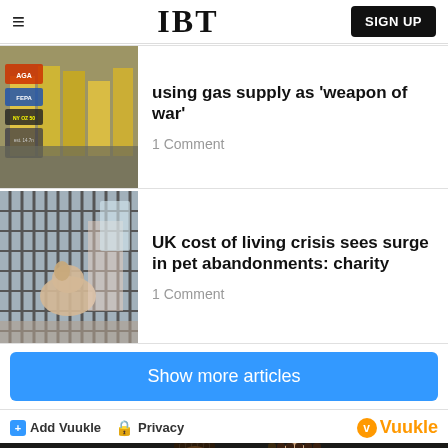IBT
using gas supply as 'weapon of war'
1 Comment
[Figure (photo): Gas supply pipes and valves with warning labels]
[Figure (photo): Dog in a kennel cage at an animal shelter]
UK cost of living crisis sees surge in pet abandonments: charity
1 Comment
Show more articles
Add Vuukle   Privacy   Vuukle
[Figure (photo): Two people, one with dreadlocks, photographed together]